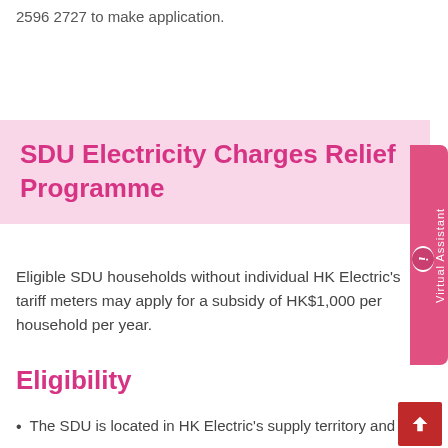2596 2727 to make application.
SDU Electricity Charges Relief Programme
Eligible SDU households without individual HK Electric's tariff meters may apply for a subsidy of HK$1,000 per household per year.
Eligibility
The SDU is located in HK Electric's supply territory and